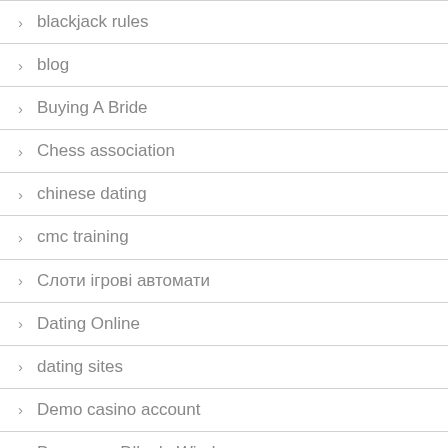blackjack rules
blog
Buying A Bride
Chess association
chinese dating
cmc training
Слоти ігрові автомати
Dating Online
dating sites
Demo casino account
Descargar Dlls de Windows